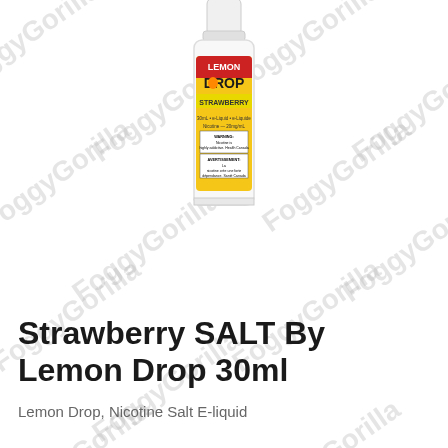[Figure (photo): Product photo of a small 30ml e-liquid bottle with white cap. The label shows 'Lemon Drop' branding with 'STRAWBERRY' flavor, yellow background with lemon and strawberry graphics. Watermark 'FoggyGorilla' repeated diagonally across the image background.]
Strawberry SALT By Lemon Drop 30ml
Lemon Drop, Nicotine Salt E-liquid